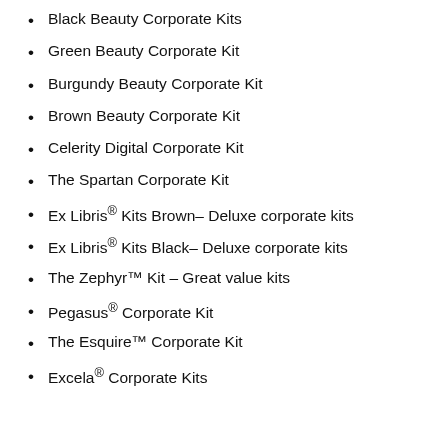Black Beauty Corporate Kits
Green Beauty Corporate Kit
Burgundy Beauty Corporate Kit
Brown Beauty Corporate Kit
Celerity Digital Corporate Kit
The Spartan Corporate Kit
Ex Libris® Kits Brown– Deluxe corporate kits
Ex Libris® Kits Black– Deluxe corporate kits
The Zephyr™ Kit – Great value kits
Pegasus® Corporate Kit
The Esquire™ Corporate Kit
Excela® Corporate Kits